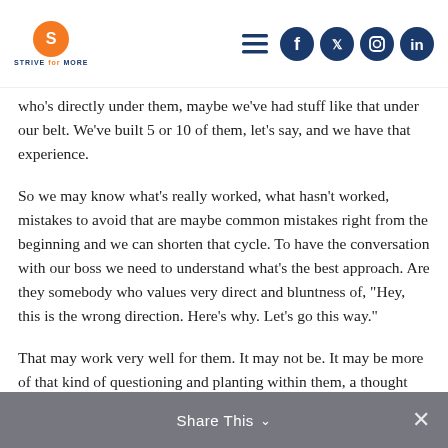Strive for More — navigation and social icons header
who's directly under them, maybe we've had stuff like that under our belt. We've built 5 or 10 of them, let's say, and we have that experience.
So we may know what's really worked, what hasn't worked, mistakes to avoid that are maybe common mistakes right from the beginning and we can shorten that cycle. To have the conversation with our boss we need to understand what's the best approach. Are they somebody who values very direct and bluntness of, "Hey, this is the wrong direction. Here's why. Let's go this way."
That may work very well for them. It may not be. It may be more of that kind of questioning and planting within them, a thought that will allow them to reach their own conclusion and walking
Share This ∨  ×